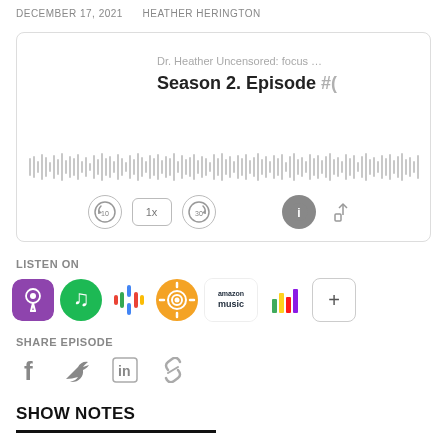DECEMBER 17, 2021    HEATHER HERINGTON
[Figure (screenshot): Podcast player embed showing 'Dr. Heather Uncensored: focus ...' with episode title 'Season 2. Episode #(clipped)', audio waveform, and player controls: skip back 10s, speed 1x, skip forward 30s, info, share]
LISTEN ON
[Figure (infographic): Row of podcast platform icons: Apple Podcasts (purple), Spotify (green), Google Podcasts (colorful dots), Overcast (orange), Amazon Music (blue), Deezer (colorful bars), plus button]
SHARE EPISODE
[Figure (infographic): Social share icons: Facebook (f), Twitter (bird), LinkedIn (in), Link/chain icon]
SHOW NOTES